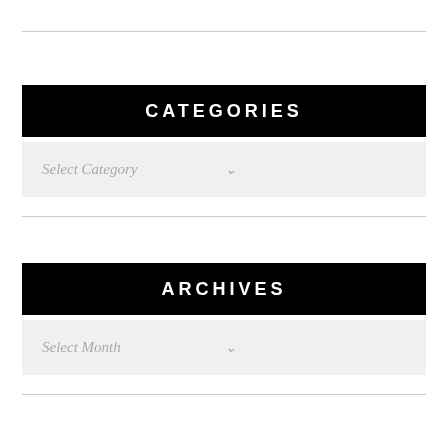CATEGORIES
Select Category
ARCHIVES
Select Month